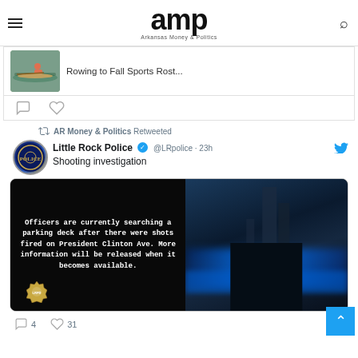amp — Arkansas Money & Politics
[Figure (screenshot): Partial tweet showing a rowing athlete image with text 'Rowing to Fall Sports Rost...']
AR Money & Politics Retweeted
Little Rock Police @LRpolice · 23h
Shooting investigation
[Figure (photo): Police department image with text: Officers are currently searching a parking deck after there were shots fired on President Clinton Ave. More information will be released when it becomes available. Background shows police car blue lights at night with city buildings.]
4  31